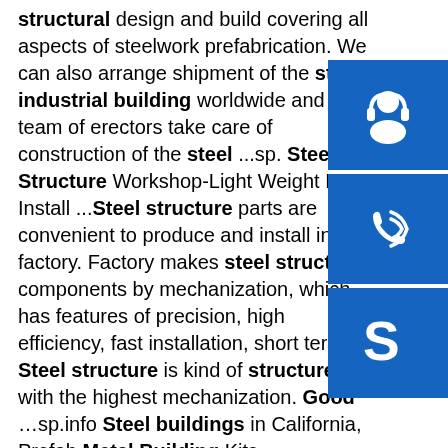structural design and build covering all aspects of steelwork prefabrication. We can also arrange shipment of the steel industrial building worldwide and our team of erectors take care of construction of the steel ...sp. Steel Structure Workshop-Light Weight Easy Install ...Steel structure parts are convenient to produce and install in factory. Factory makes steel structure components by mechanization, which has features of precision, high efficiency, fast installation, short term. Steel structure is kind of structure with the highest mechanization. Good …sp.info Steel buildings in California, Prefab Metal Building Kits, CAIndustrial and Residential Metal Buildings in California. Ironbuilt is consistently chosen for the strength and quality of our steel buildings in California along with the best prices and customer service. Our flexible design allows for our prefab metal building kits to be used for any industrial... sp.info Steel Buildings, Steel Structures AmericaSteel Structures America specializes in post frame steel and
[Figure (other): Three blue square buttons with white icons stacked vertically on the right side: a customer support/headset icon, a phone/call icon, and a Skype icon.]